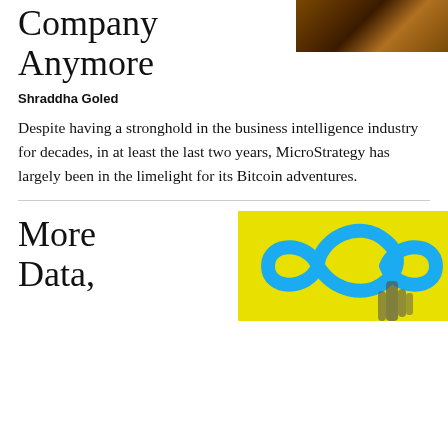Company Anymore
[Figure (photo): Dark golden/orange bokeh background image, top right corner]
Shraddha Goled
Despite having a stronghold in the business intelligence industry for decades, in at least the last two years, MicroStrategy has largely been in the limelight for its Bitcoin adventures.
More Data,
[Figure (illustration): Yellow background with blue infinity/knot symbol and a hand holding something]